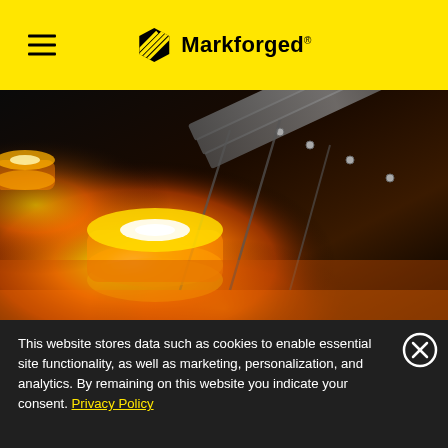Markforged
[Figure (photo): Close-up photo of glowing orange/yellow hot metal parts in an industrial sintering or heating furnace, showing rectangular metal trays with cylindrical components illuminated by intense heat]
This website stores data such as cookies to enable essential site functionality, as well as marketing, personalization, and analytics. By remaining on this website you indicate your consent. Privacy Policy